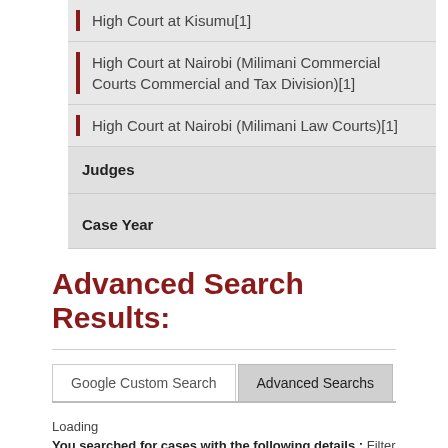High Court at Kisumu[1]
High Court at Nairobi (Milimani Commercial Courts Commercial and Tax Division)[1]
High Court at Nairobi (Milimani Law Courts)[1]
Judges
Case Year
Advanced Search Results:
Google Custom Search
Advanced Searchs
Loading
You searched for cases with the following details ; Filter Judge Name :